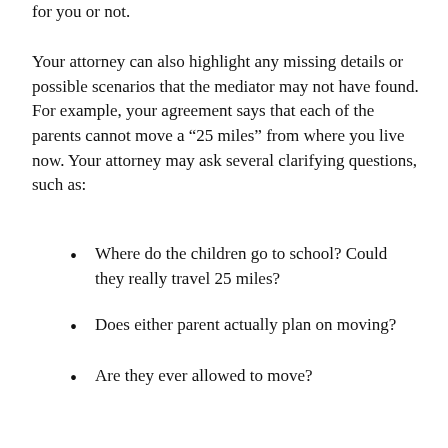for you or not.
Your attorney can also highlight any missing details or possible scenarios that the mediator may not have found. For example, your agreement says that each of the parents cannot move a “25 miles” from where you live now. Your attorney may ask several clarifying questions, such as:
Where do the children go to school? Could they really travel 25 miles?
Does either parent actually plan on moving?
Are they ever allowed to move?